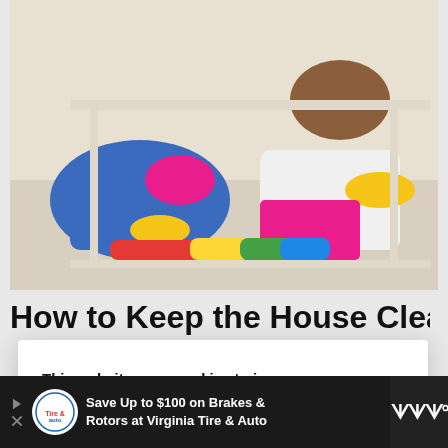[Figure (photo): Two people wearing colorful rubber gloves cleaning under furniture on a white carpet with colorful duster brushes]
How to Keep the House Clean with
This website uses cookies to improve your experience. ACCEPT You can Read More here.
[Figure (photo): Woman in profile view with eyes closed, holding a mug, with warm backlit window light]
[Figure (other): Advertisement: Save Up to $100 on Brakes & Rotors at Virginia Tire & Auto]